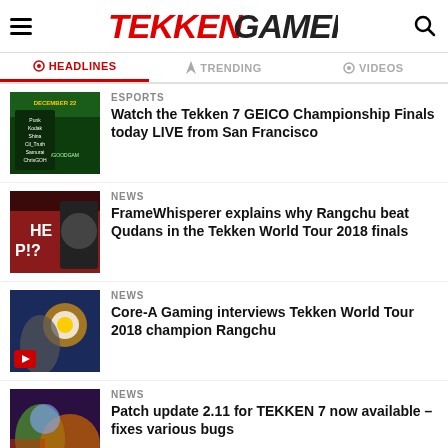TEKKENGAMER
HEADLINES | TRENDING | VIDEOS
[Figure (screenshot): Thumbnail showing Tekken 7 GEICO Championship bracket on dark green background]
ESPORTS
Watch the Tekken 7 GEICO Championship Finals today LIVE from San Francisco
[Figure (screenshot): Thumbnail showing fighting game screenshot with text HE P!?]
NEWS
FrameWhisperer explains why Rangchu beat Qudans in the Tekken World Tour 2018 finals
[Figure (screenshot): Thumbnail showing fighting game action with Panda character and red play button]
NEWS
Core-A Gaming interviews Tekken World Tour 2018 champion Rangchu
[Figure (screenshot): Thumbnail showing colorful character art from Tekken 7]
NEWS
Patch update 2.11 for TEKKEN 7 now available – fixes various bugs